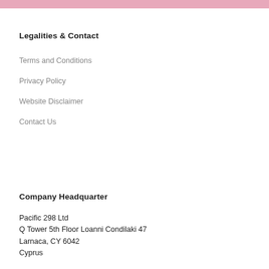Legalities & Contact
Terms and Conditions
Privacy Policy
Website Disclaimer
Contact Us
Company Headquarter
Pacific 298 Ltd
Q Tower 5th Floor Loanni Condilaki 47
Larnaca, CY 6042
Cyprus